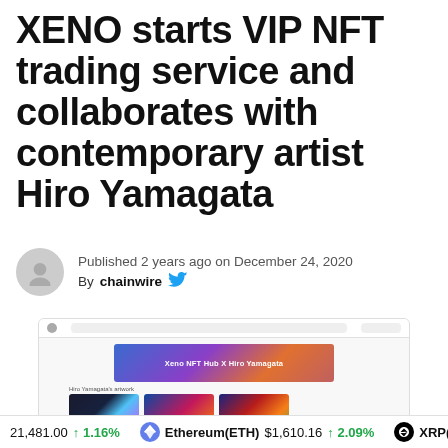XENO starts VIP NFT trading service and collaborates with contemporary artist Hiro Yamagata
Published 2 years ago on December 24, 2020
By chainwire
[Figure (screenshot): Screenshot of the XENO NFT Hub website showing a banner reading 'Xeno NFT Hub X Hiro Yamagata' with colorful artwork thumbnails below labeled 'Hiro Yamagata's artwork']
21,481.00  ↑ 1.16%   Ethereum(ETH) $1,610.16  ↑ 2.09%   XRP(